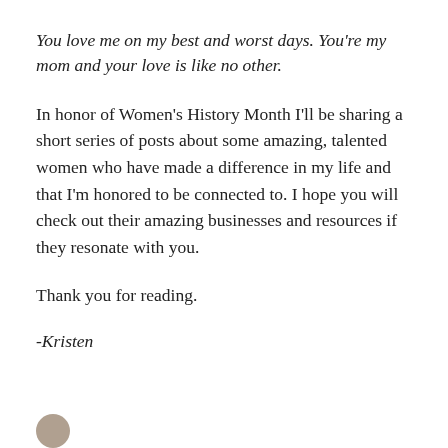You love me on my best and worst days. You're my mom and your love is like no other.
In honor of Women's History Month I'll be sharing a short series of posts about some amazing, talented women who have made a difference in my life and that I'm honored to be connected to. I hope you will check out their amazing businesses and resources if they resonate with you.
Thank you for reading.
-Kristen